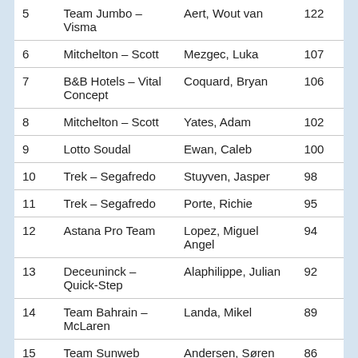| # | Team | Rider | Points |
| --- | --- | --- | --- |
| 5 | Team Jumbo – Visma | Aert, Wout van | 122 |
| 6 | Mitchelton – Scott | Mezgec, Luka | 107 |
| 7 | B&B Hotels – Vital Concept | Coquard, Bryan | 106 |
| 8 | Mitchelton – Scott | Yates, Adam | 102 |
| 9 | Lotto Soudal | Ewan, Caleb | 100 |
| 10 | Trek – Segafredo | Stuyven, Jasper | 98 |
| 11 | Trek – Segafredo | Porte, Richie | 95 |
| 12 | Astana Pro Team | Lopez, Miguel Angel | 94 |
| 13 | Deceuninck – Quick-Step | Alaphilippe, Julian | 92 |
| 14 | Team Bahrain – McLaren | Landa, Mikel | 89 |
| 15 | Team Sunweb | Andersen, Søren Kragh | 86 |